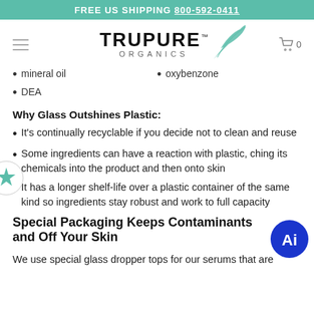FREE US SHIPPING 800-592-0411
[Figure (logo): TruPure Organics logo with teal leaf and hamburger menu icon and cart icon]
mineral oil
DEA
oxybenzone
Why Glass Outshines Plastic:
It's continually recyclable if you decide not to clean and reuse
Some ingredients can have a reaction with plastic, ching its chemicals into the product and then onto skin
It has a longer shelf-life over a plastic container of the same kind so ingredients stay robust and work to full capacity
Special Packaging Keeps Contaminants and Off Your Skin
We use special glass dropper tops for our serums that are